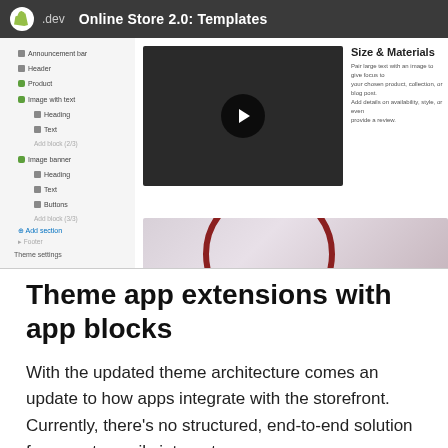[Figure (screenshot): Screenshot of Shopify Online Store 2.0 Templates video/interface showing a sidebar with theme components (Announcement bar, Header, Product, Image with text, Image banner) and a main area with a video player thumbnail showing a play button, alongside a 'Size & Materials' section with descriptive text, and a bottom image strip with a curved red arc element.]
Theme app extensions with app blocks
With the updated theme architecture comes an update to how apps integrate with the storefront. Currently, there's no structured, end-to-end solution for apps to easily integrate